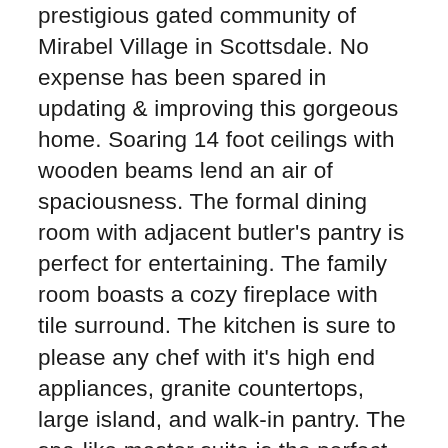prestigious gated community of Mirabel Village in Scottsdale. No expense has been spared in updating & improving this gorgeous home. Soaring 14 foot ceilings with wooden beams lend an air of spaciousness. The formal dining room with adjacent butler's pantry is perfect for entertaining. The family room boasts a cozy fireplace with tile surround. The kitchen is sure to please any chef with it's high end appliances, granite countertops, large island, and walk-in pantry. The spa-like master suite is the perfect place to relax with its double vanities, separate deep soaking tub, separate walk-in shower & complemented with a walk-in closet with custom built-ins. Connected to...